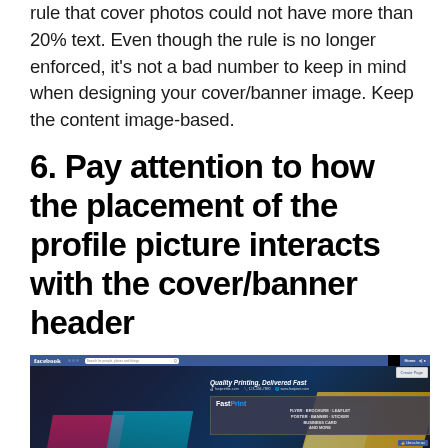rule that cover photos could not have more than 20% text. Even though the rule is no longer enforced, it's not a bad number to keep in mind when designing your cover/banner image. Keep the content image-based.
6. Pay attention to how the placement of the profile picture interacts with the cover/banner header
[Figure (screenshot): Screenshot of a Facebook page for FastPrint showing a cover/banner image with colorful printing materials, the FastPrint logo, and text 'Quality Printing, Delivered Fast', 'FLYER · BROCHURE · LEAFLET POSTER · BANNER · STICKER BUSINESS CARD AND MORE']